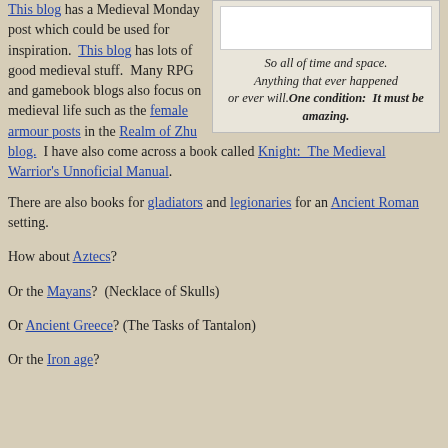This blog has a Medieval Monday post which could be used for inspiration.
[Figure (other): White image box above italic quote text]
So all of time and space. Anything that ever happened or ever will. One condition: It must be amazing.
This blog has lots of good medieval stuff. Many RPG and gamebook blogs also focus on medieval life such as the female armour posts in the Realm of Zhu blog. I have also come across a book called Knight: The Medieval Warrior's Unnoficial Manual.
There are also books for gladiators and legionaries for an Ancient Roman setting.
How about Aztecs?
Or the Mayans? (Necklace of Skulls)
Or Ancient Greece? (The Tasks of Tantalon)
Or the Iron age?